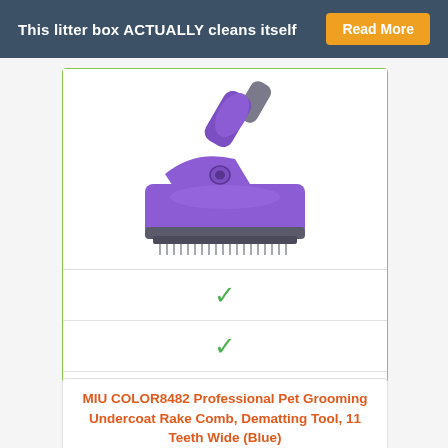This litter box ACTUALLY cleans itself  Read More
[Figure (photo): Purple pet grooming slicker brush with gray handle, shown at an angle against white background]
✓
✓
Shop Now
MIU COLOR8482 Professional Pet Grooming Undercoat Rake Comb, Dematting Tool, 11 Teeth Wide (Blue)